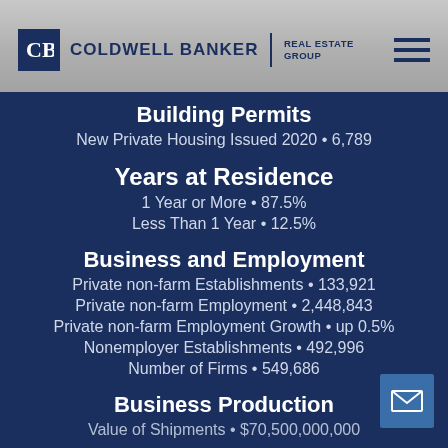Coldwell Banker Real Estate Group
Building Permits
New Private Housing Issued 2020 • 6,789
Years at Residence
1 Year or More • 87.5%
Less Than 1 Year • 12.5%
Business and Employment
Private non-farm Establishments • 133,921
Private non-farm Employment • 2,448,843
Private non-farm Employment Growth • up 0.5%
Nonemployer Establishments • 492,996
Number of Firms • 549,686
Business Production
Value of Shipments • $70,500,000,000